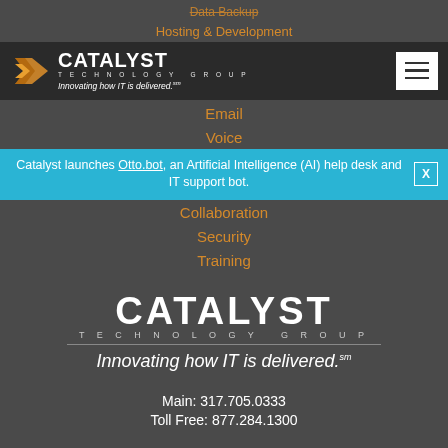Data Backup
Hosting & Development
[Figure (logo): Catalyst Technology Group logo with orange chevron icon, white CATALYST text, TECHNOLOGY GROUP subtext, and tagline 'Innovating how IT is delivered.']
Email
Voice
Catalyst launches Otto.bot, an Artificial Intelligence (AI) help desk and IT support bot.
Collaboration
Security
Training
[Figure (logo): Large Catalyst Technology Group footer logo with CATALYST in large white letters, TECHNOLOGY GROUP subtext, horizontal rule, and tagline 'Innovating how IT is delivered.']
Main: 317.705.0333
Toll Free: 877.284.1300